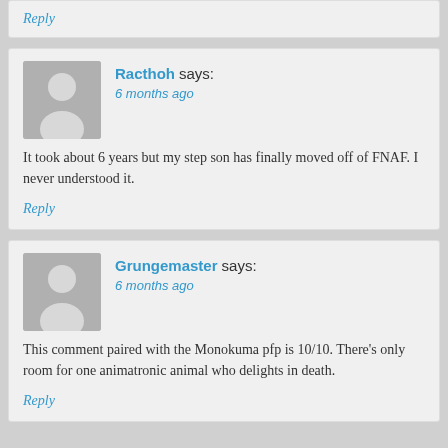Reply
Racthoh says:
6 months ago

It took about 6 years but my step son has finally moved off of FNAF. I never understood it.
Reply
Grungemaster says:
6 months ago

This comment paired with the Monokuma pfp is 10/10. There's only room for one animatronic animal who delights in death.
Reply